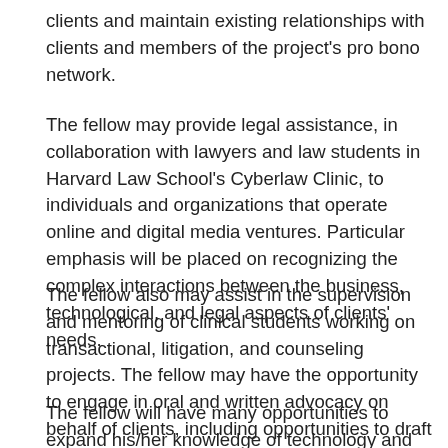clients and maintain existing relationships with clients and members of the project's pro bono network.
The fellow may provide legal assistance, in collaboration with lawyers and law students in Harvard Law School's Cyberlaw Clinic, to individuals and organizations that operate online and digital media ventures. Particular emphasis will be placed on recognizing the complex interactions between the business, technological, and legal aspects of clients' needs.
The fellow also may assist in the supervision and mentoring of clinical students working on transactional, litigation, and counseling projects. The fellow may have the opportunity to engage in oral and written advocacy on behalf of clients, including opportunities to draft amicus briefs in cases involving significant First Amendment, intellectual property, and media law issues.
The fellow will have many opportunities to expand his/her knowledge of technology and law, including frequent